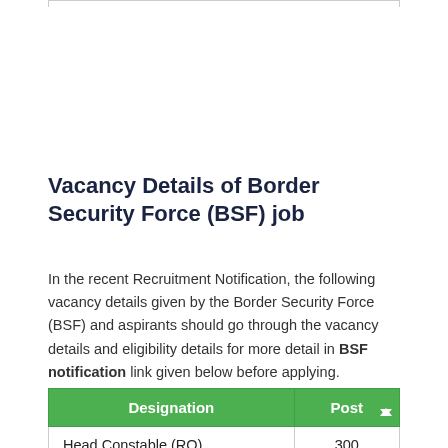Vacancy Details of Border Security Force (BSF) job
In the recent Recruitment Notification, the following vacancy details given by the Border Security Force (BSF) and aspirants should go through the vacancy details and eligibility details for more detail in BSF notification link given below before applying.
| Designation | Post |
| --- | --- |
| Head Constable (RO) | 300 |